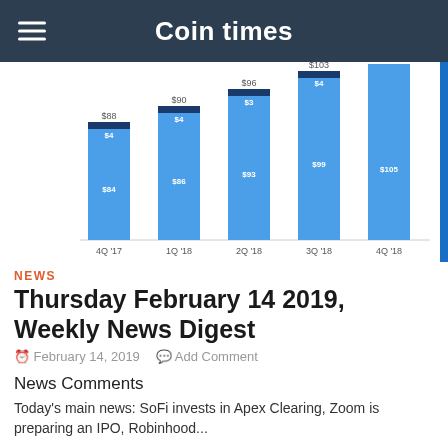Coin times
[Figure (stacked-bar-chart): ]
NEWS
Thursday February 14 2019, Weekly News Digest
February 14, 2019  Add Comment
News Comments
Today's main news: SoFi invests in Apex Clearing, Zoom is preparing an IPO, Robinhood...